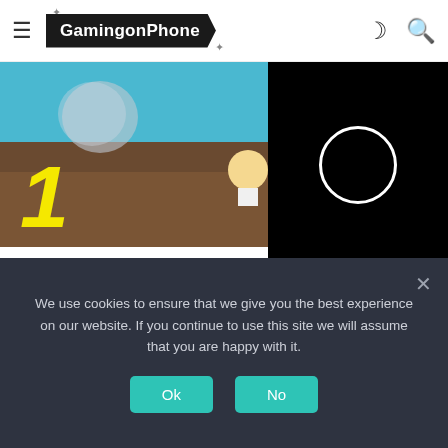GamingonPhone
[Figure (screenshot): Game screenshot showing 3D platformer scene with large yellow number '1' and character in colorful environment]
[Figure (screenshot): Black video loading overlay with white circular spinner]
The game has beautiful 3D graphics and also happens to be incredibly relaxing. The natural spaces in the open world are full of surprises and dotted with candles that are to be collected in order to complete the challenges. Each time you pick up a candle you will unlock a postcard and other objects that reveal something about Louis Vuitton's story.
We use cookies to ensure that we give you the best experience on our website. If you continue to use this site we will assume that you are happy with it.